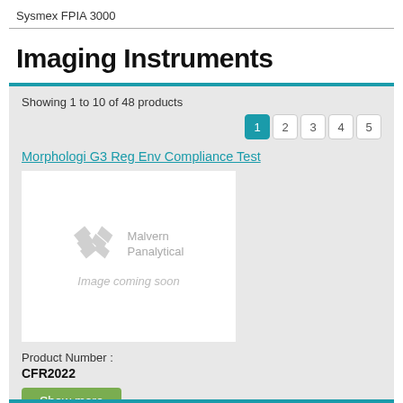Sysmex FPIA 3000
Imaging Instruments
Showing 1 to 10 of 48 products
1 2 3 4 5
Morphologi G3 Reg Env Compliance Test
[Figure (logo): Malvern Panalytical logo with crossed parallelogram shapes and text 'Image coming soon']
Product Number :
CFR2022
Show more